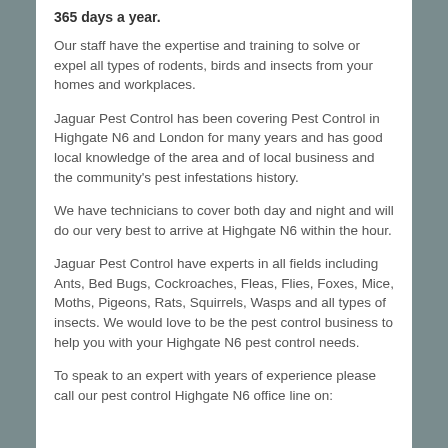365 days a year.
Our staff have the expertise and training to solve or expel all types of rodents, birds and insects from your homes and workplaces.
Jaguar Pest Control has been covering Pest Control in Highgate N6 and London for many years and has good local knowledge of the area and of local business and the community's pest infestations history.
We have technicians to cover both day and night and will do our very best to arrive at Highgate N6 within the hour.
Jaguar Pest Control have experts in all fields including Ants, Bed Bugs, Cockroaches, Fleas, Flies, Foxes, Mice, Moths, Pigeons, Rats, Squirrels, Wasps and all types of insects. We would love to be the pest control business to help you with your Highgate N6 pest control needs.
To speak to an expert with years of experience please call our pest control Highgate N6 office line on: